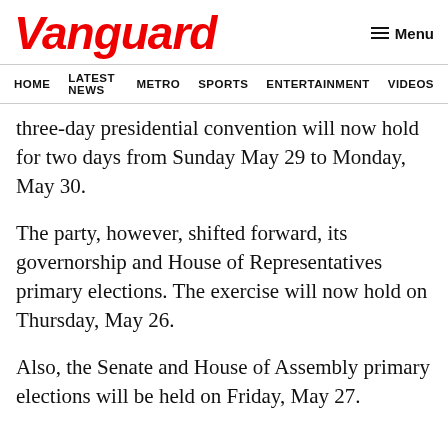Vanguard
HOME   LATEST NEWS   METRO   SPORTS   ENTERTAINMENT   VIDEOS
three-day presidential convention will now hold for two days from Sunday May 29 to Monday, May 30.
The party, however, shifted forward, its governorship and House of Representatives primary elections. The exercise will now hold on Thursday, May 26.
Also, the Senate and House of Assembly primary elections will be held on Friday, May 27.